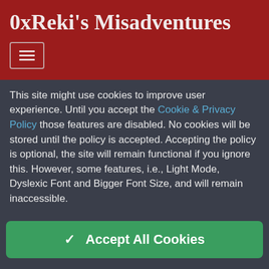0xReki's Misadventures
This site might use cookies to improve user experience. Until you accept the Cookie & Privacy Policy those features are disabled. No cookies will be stored until the policy is accepted. Accepting the policy is optional, the site will remain functional if you ignore this. However, some features, i.e., Light Mode, Dyslexic Font and Bigger Font Size, and will remain inaccessible.
✔  Accept All Cookies
0xReki's Misadventures / Blog / What I hate about WYSIWYG
Wh...